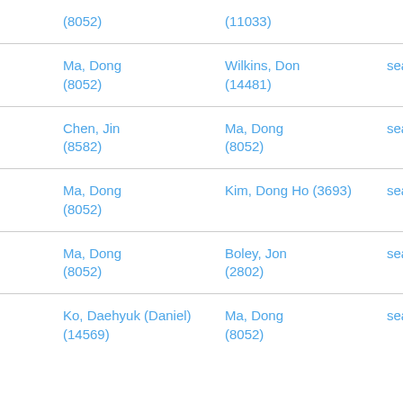| (8052) | (11033) |  |
| Ma, Dong
(8052) | Wilkins, Don
(14481) | seat20091101 |
| Chen, Jin
(8582) | Ma, Dong
(8052) | seat20081011 |
| Ma, Dong
(8052) | Kim, Dong Ho (3693) | seat20081011 |
| Ma, Dong
(8052) | Boley, Jon
(2802) | seat20081011 |
| Ko, Daehyuk (Daniel)
(14569) | Ma, Dong
(8052) | seat20080712o |